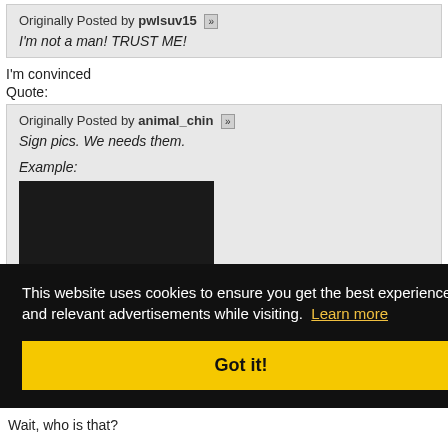Originally Posted by pwlsuv15 [»] I'm not a man! TRUST ME!
I'm convinced
Quote:
Originally Posted by animal_chin [»] Sign pics. We needs them. Example:
[Figure (photo): Dark/black rectangular image placeholder]
This website uses cookies to ensure you get the best experience and relevant advertisements while visiting. Learn more
Got it!
Wait, who is that?